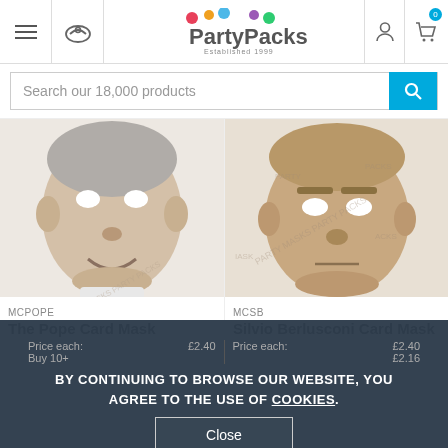PartyPacks — Established 1999
Search our 18,000 products
[Figure (photo): The Pope Card Mask — photo of Pope Francis face mask with eye holes]
MCPOPE
The Pope Card Mask
Price each: £2.40
Buy 10+: £2.16
[Figure (photo): Silvio Berlusconi Card Mask — photo of Silvio Berlusconi face mask with eye holes and watermark]
MCSB
Silvio Berlusconi Card Mask
Price each: £2.40
Buy 10+: £2.16
BY CONTINUING TO BROWSE OUR WEBSITE, YOU AGREE TO THE USE OF COOKIES.
Close
Add to basket
Add to basket